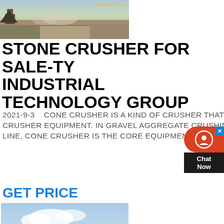[Figure (photo): Aerial/ground view of a stone crushing or quarry site, showing excavated terrain, machinery and dust. Timestamp overlay reads 2010/09/23 15:14]
STONE CRUSHER FOR SALE-TY INDUSTRIAL TECHNOLOGY GROUP
2021-9-3   CONE CRUSHER IS A KIND OF CRUSHER THAT CAN CRUSH ORE OF ABOUT 400 AND 500MM INTO 10-30MM CRUSHER EQUIPMENT. IN GRAVEL AGGREGATE CRUSHING PRODUCTION LINE AND METAL ORE CRUSHING PRODUCTION LINE, CONE CRUSHER IS THE CORE EQUIPMENT FOR
GET PRICE
[Figure (photo): Industrial stone crusher / aggregate crushing plant setup outdoors with conveyor belts, machinery, and buildings in a tropical/forested setting]